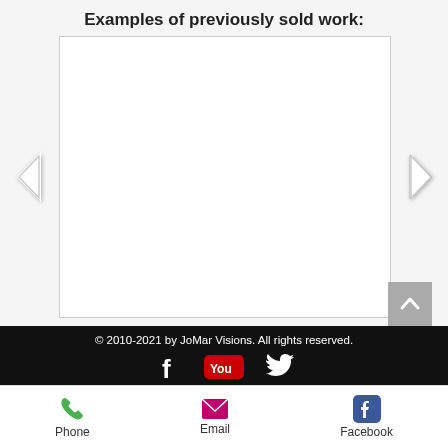Examples of previously sold work:
[Figure (screenshot): Empty white image slideshow panel with left and right navigation arrows on either side]
© 2010-2021 by JoMar Visions. All rights reserved.
[Figure (other): Footer social media icons: Facebook, YouTube, Twitter]
[Figure (other): Mobile bottom navigation bar with Phone, Email, Facebook icons and labels]